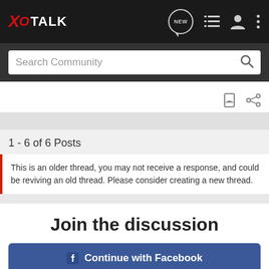XO TALK
Search Community
1 - 6 of 6 Posts
This is an older thread, you may not receive a response, and could be reviving an old thread. Please consider creating a new thread.
Join the discussion
Continue with Facebook